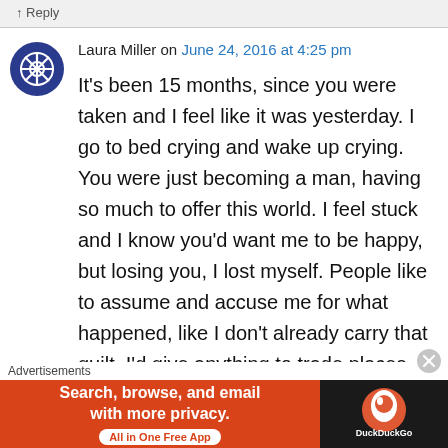↑ Reply
Laura Miller on June 24, 2016 at 4:25 pm
It's been 15 months, since you were taken and I feel like it was yesterday. I go to bed crying and wake up crying. You were just becoming a man, having so much to offer this world. I feel stuck and I know you'd want me to be happy, but losing you, I lost myself. People like to assume and accuse me for what happened, like I don't already carry that guilt. I'd give anything to trade places with you that day. How I prayed to God, relentlessly, to take me, let you live a full life. I
Advertisements
[Figure (screenshot): DuckDuckGo advertisement banner: orange left section with text 'Search, browse, and email with more privacy. All in One Free App' and dark right section with DuckDuckGo logo]